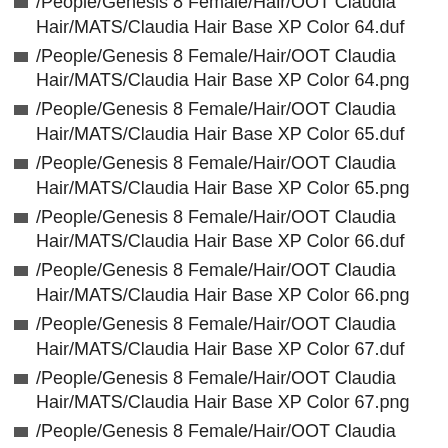/People/Genesis 8 Female/Hair/OOT Claudia Hair/MATS/Claudia Hair Base XP Color 64.duf
/People/Genesis 8 Female/Hair/OOT Claudia Hair/MATS/Claudia Hair Base XP Color 64.png
/People/Genesis 8 Female/Hair/OOT Claudia Hair/MATS/Claudia Hair Base XP Color 65.duf
/People/Genesis 8 Female/Hair/OOT Claudia Hair/MATS/Claudia Hair Base XP Color 65.png
/People/Genesis 8 Female/Hair/OOT Claudia Hair/MATS/Claudia Hair Base XP Color 66.duf
/People/Genesis 8 Female/Hair/OOT Claudia Hair/MATS/Claudia Hair Base XP Color 66.png
/People/Genesis 8 Female/Hair/OOT Claudia Hair/MATS/Claudia Hair Base XP Color 67.duf
/People/Genesis 8 Female/Hair/OOT Claudia Hair/MATS/Claudia Hair Base XP Color 67.png
/People/Genesis 8 Female/Hair/OOT Claudia Hair/MATS/Claudia Hair Base XP Color 68.duf
/People/Genesis 8 Female/Hair/OOT Claudia Hair/MATS/Claudia Hair Base XP Color 68.png